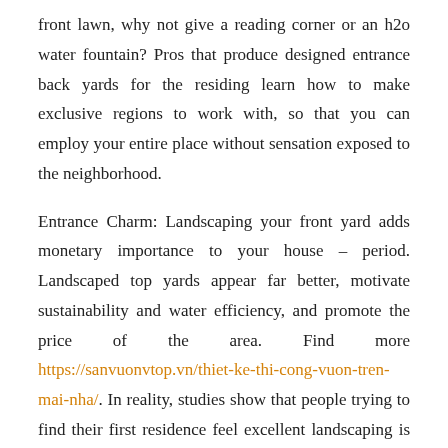front lawn, why not give a reading corner or an h2o water fountain? Pros that produce designed entrance back yards for the residing learn how to make exclusive regions to work with, so that you can employ your entire place without sensation exposed to the neighborhood.

Entrance Charm: Landscaping your front yard adds monetary importance to your house – period. Landscaped top yards appear far better, motivate sustainability and water efficiency, and promote the price of the area. Find more https://sanvuonvtop.vn/thiet-ke-thi-cong-vuon-tren-mai-nha/. In reality, studies show that people trying to find their first residence feel excellent landscaping is indicative of greater housekeeping – well-known fact NJ landscapers will willingly reveal. So by landscaping your yard, you're displaying the planet that you devote time and effort to looking after your house. Think